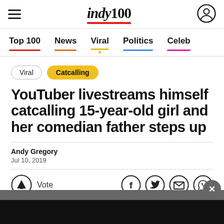indy100
Top 100 | News | Viral | Politics | Celeb
Viral
Catcalling
YouTuber livestreams himself catcalling 15-year-old girl and her comedian father steps up
Andy Gregory
Jul 10, 2019